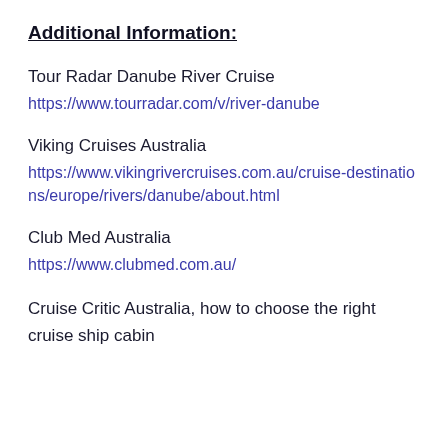Additional Information:
Tour Radar Danube River Cruise
https://www.tourradar.com/v/river-danube
Viking Cruises Australia
https://www.vikingrivercruises.com.au/cruise-destinations/europe/rivers/danube/about.html
Club Med Australia
https://www.clubmed.com.au/
Cruise Critic Australia, how to choose the right cruise ship cabin